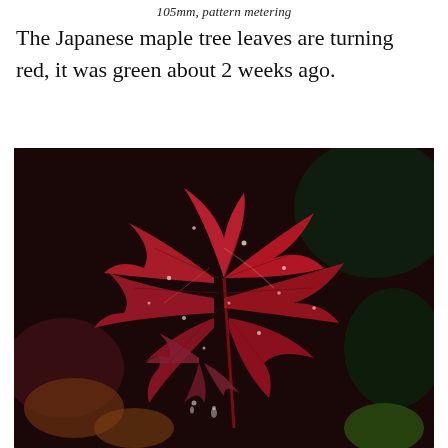105mm, pattern metering
The Japanese maple tree leaves are turning red, it was green about 2 weeks ago.
[Figure (photo): Close-up photograph of a Japanese maple tree leaf with red coloration and dew drops on the surface, with blurred reddish and dark green background foliage.]